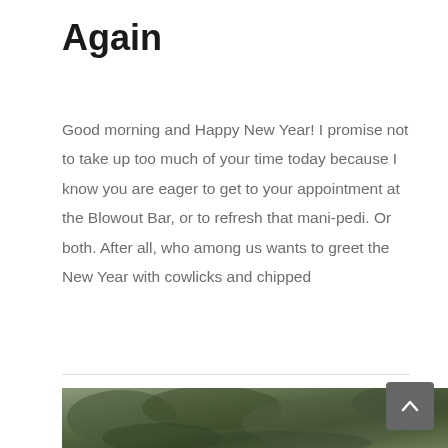Again
Good morning and Happy New Year!  I promise not to take up too much of your time today because I know you are eager to get to your appointment at the Blowout Bar, or to refresh that  mani-pedi.  Or both.  After all, who among us wants to greet the New Year with cowlicks and chipped
By Susan Goldfein | December 31st, 2016 | Categories: Holidays, Pets | 10 Comments
Read More >
[Figure (photo): Outdoor photo showing foliage/trees with green and dark tones]